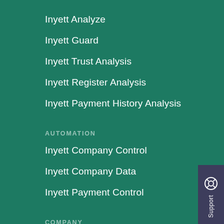Inyett Analyze
Inyett Guard
Inyett Trust Analysis
Inyett Register Analysis
Inyett Payment History Analysis
AUTOMATION
Inyett Company Control
Inyett Company Data
Inyett Payment Control
COMPANY
About Inyett
Career